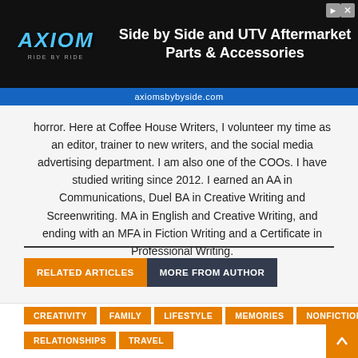[Figure (screenshot): Axiom Ride by Ride advertisement banner for Side by Side and UTV Aftermarket Parts & Accessories at axiomsbybyside.com]
horror. Here at Coffee House Writers, I volunteer my time as an editor, trainer to new writers, and the social media advertising department. I am also one of the COOs. I have studied writing since 2012. I earned an AA in Communications, Duel BA in Creative Writing and Screenwriting. MA in English and Creative Writing, and ending with an MFA in Fiction Writing and a Certificate in Professional Writing.
RELATED ARTICLES  MORE FROM AUTHOR
CREATIVITY
FAMILY
LIFESTYLE
MEMORIES
NONFICTION
POETRY
RELATIONSHIPS
TRAVEL